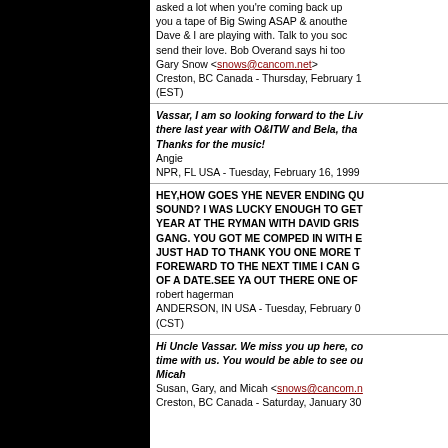asked a lot when you're coming back up you a tape of Big Swing ASAP & anouthe Dave & I are playing with. Talk to you soc send their love. Bob Overand says hi too
Gary Snow <snows@cancom.net>
Creston, BC Canada - Thursday, February 1 (EST)
Vassar, I am so looking forward to the Liv there last year with O&ITW and Bela, tha Thanks for the music!
Angie
NPR, FL USA - Tuesday, February 16, 1999
HEY,HOW GOES YHE NEVER ENDING QU SOUND? I WAS LUCKY ENOUGH TO GET YEAR AT THE RYMAN WITH DAVID GRIS GANG. YOU GOT ME COMPED IN WITH E JUST HAD TO THANK YOU ONE MORE T FOREWARD TO THE NEXT TIME I CAN G OF A DATE.SEE YA OUT THERE ONE OF
robert hagerman
ANDERSON, IN USA - Tuesday, February 0 (CST)
Hi Uncle Vassar. We miss you up here, co time with us. You would be able to see ou Micah
Susan, Gary, and Micah <snows@cancom.n
Creston, BC Canada - Saturday, January 30